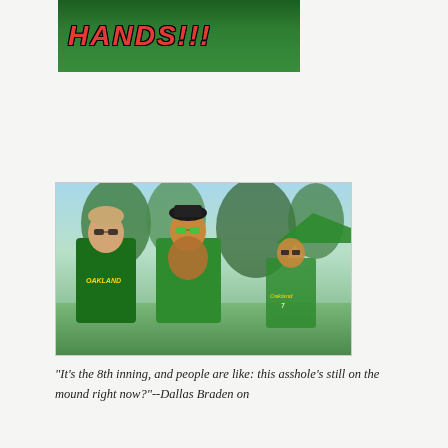[Figure (photo): Partial view of a person in a green Oakland Athletics shirt with red text 'HANDS!!!' visible at top]
[Figure (photo): Two men posing outdoors in green Oakland Athletics jerseys at what appears to be a tailgate or outdoor event. The man on the left wears sunglasses and an Oakland jersey. The man in the center has a large curly beard and green sunglasses. A third man in an Oakland jersey number 7 stands behind them.]
"It's the 8th inning, and people are like: this asshole's still on the mound right now?"--Dallas Braden on